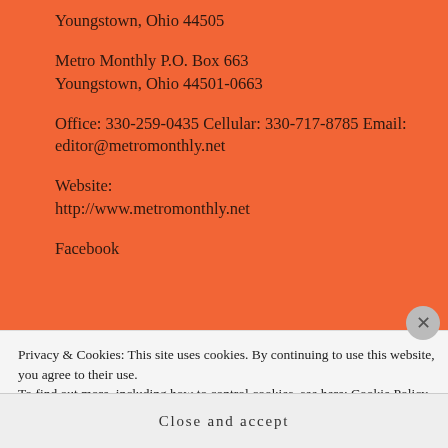Youngstown, Ohio 44505
Metro Monthly P.O. Box 663
Youngstown, Ohio 44501-0663
Office: 330-259-0435 Cellular: 330-717-8785 Email: editor@metromonthly.net
Website:
http://www.metromonthly.net
Facebook
Privacy & Cookies: This site uses cookies. By continuing to use this website, you agree to their use.
To find out more, including how to control cookies, see here: Cookie Policy
Close and accept